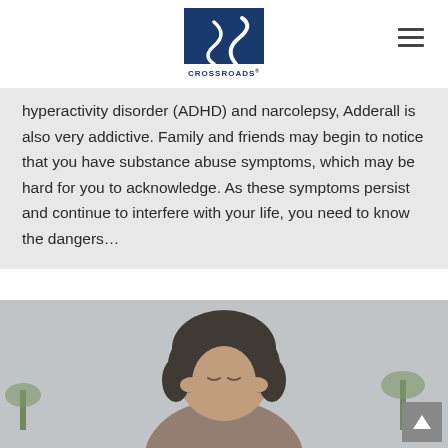Crossroads logo and navigation
hyperactivity disorder (ADHD) and narcolepsy, Adderall is also very addictive. Family and friends may begin to notice that you have substance abuse symptoms, which may be hard for you to acknowledge. As these symptoms persist and continue to interfere with your life, you need to know the dangers...
[Figure (photo): A woman with curly hair pressing her fingers to her temples with eyes closed, appearing stressed or in pain, with a blurred indoor background including a plant.]